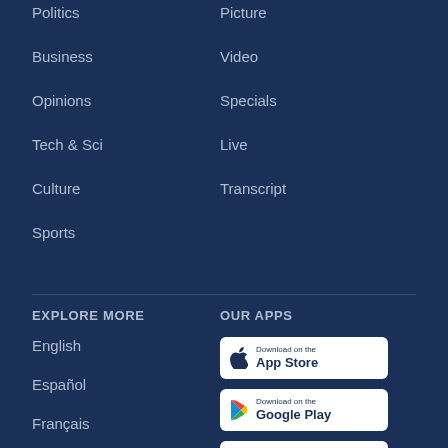Politics
Picture
Business
Video
Opinions
Specials
Tech & Sci
Live
Culture
Transcript
Sports
EXPLORE MORE
OUR APPS
English
Español
Français
العربية
Русский
[Figure (other): Download on the App Store badge]
[Figure (other): Download on the Google Play badge]
[Figure (other): Download on the Website badge]
[Figure (other): Download on the Apple tv Store badge]